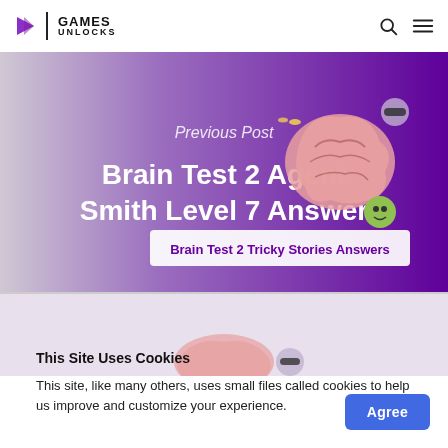GAMES UNLOCKS
[Figure (screenshot): Website screenshot showing a Brain Test 2 Agent Smith Level 7 Answer page with purple gradient background, brain cartoon images, and the text 'Previous Post', 'Brain Test 2 Agent Smith Level 7 Answer', and 'Brain Test 2 Tricky Stories Answers']
This Site Uses Cookies
This site, like many others, uses small files called cookies to help us improve and customize your experience.